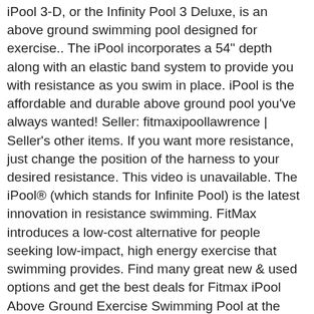iPool 3-D, or the Infinity Pool 3 Deluxe, is an above ground swimming pool designed for exercise.. The iPool incorporates a 54" depth along with an elastic band system to provide you with resistance as you swim in place. iPool is the affordable and durable above ground pool you've always wanted! Seller: fitmaxipoollawrence | Seller's other items. If you want more resistance, just change the position of the harness to your desired resistance. This video is unavailable. The iPool® (which stands for Infinite Pool) is the latest innovation in resistance swimming. FitMax introduces a low-cost alternative for people seeking low-impact, high energy exercise that swimming provides. Find many great new & used options and get the best deals for Fitmax iPool Above Ground Exercise Swimming Pool at the best online prices at eBay! Try. iPool provides a user with hours of swimming, at a lower cost with fewer chemicals and less space than a traditional swimming pool.iPool… iPool Above Ground Exercise Swimming Pool: Amazon.ca: Sports & Outdoors. Take advantage of warm water therapy anytime, anywhere! iPool. Search. Loading... Close.